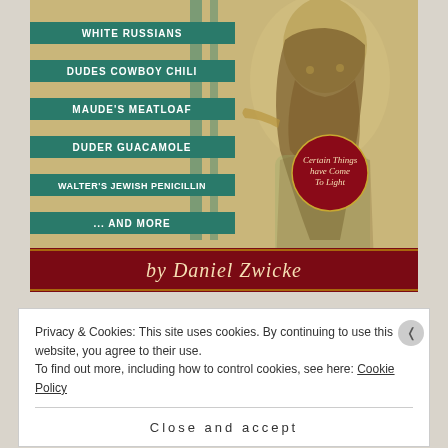[Figure (illustration): Book cover illustration showing a retro pop-art style design with a bearded figure on the right, teal stripe bars on the left listing menu items: WHITE RUSSIANS, DUDES COWBOY CHILI, MAUDE'S MEATLOAF, DUDER GUACAMOLE, WALTER'S JEWISH PENICILLIN, AND MORE. A red badge reads 'Certain Things have Come To Light'. A dark red banner at the bottom reads 'by Daniel Zwicke' in italic script.]
Privacy & Cookies: This site uses cookies. By continuing to use this website, you agree to their use.
To find out more, including how to control cookies, see here: Cookie Policy
Close and accept